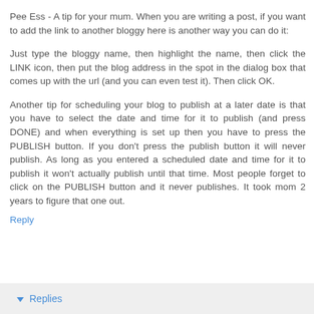Pee Ess - A tip for your mum. When you are writing a post, if you want to add the link to another bloggy here is another way you can do it:
Just type the bloggy name, then highlight the name, then click the LINK icon, then put the blog address in the spot in the dialog box that comes up with the url (and you can even test it). Then click OK.
Another tip for scheduling your blog to publish at a later date is that you have to select the date and time for it to publish (and press DONE) and when everything is set up then you have to press the PUBLISH button. If you don't press the publish button it will never publish. As long as you entered a scheduled date and time for it to publish it won't actually publish until that time. Most people forget to click on the PUBLISH button and it never publishes. It took mom 2 years to figure that one out.
Reply
Replies